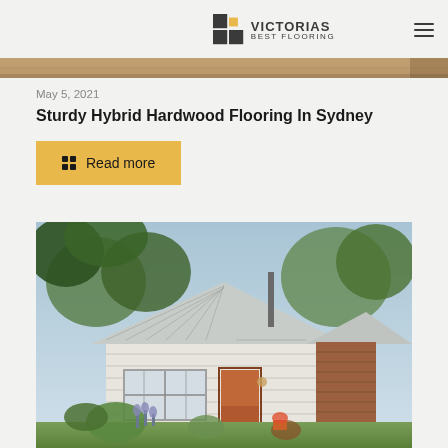VICTORIAS BEST FLOORING
[Figure (photo): Partial top strip of a wooden flooring texture image]
May 5, 2021
Sturdy Hybrid Hardwood Flooring In Sydney
Read more
[Figure (photo): Small white cottage house with corrugated iron roof, orange/brown wooden door, white siding, surrounded by garden plants and trees]